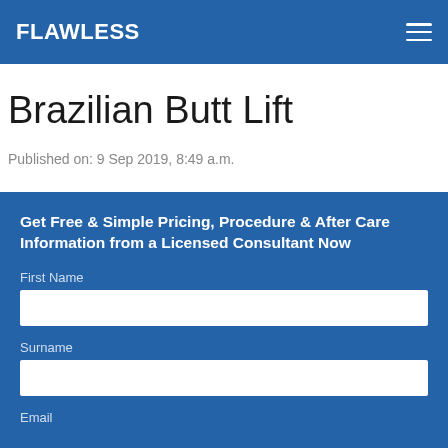FLAWLESS
Brazilian Butt Lift
Published on: 9 Sep 2019, 8:49 a.m.
Get Free & Simple Pricing, Procedure & After Care Information from a Licensed Consultant Now
First Name
Surname
Email